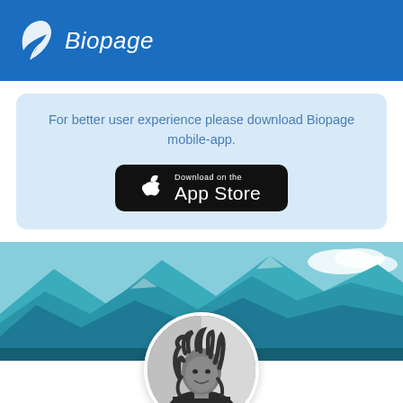[Figure (logo): Biopage logo with white leaf/feather icon and italic white text 'Biopage' on blue background]
For better user experience please download Biopage mobile-app.
[Figure (illustration): App Store download button — black rounded rectangle with Apple logo and text 'Download on the App Store']
[Figure (photo): Scenic mountain landscape with teal/turquoise mountains and blue sky]
[Figure (photo): Circular profile photo of a young woman with braided hair, black and white]